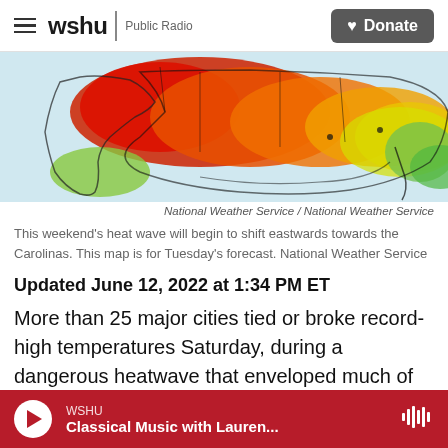wshu Public Radio | Donate
[Figure (map): Heat wave map of the United States showing temperature forecast with colors ranging from green (cooler) to red/orange (hotter), showing southwestern US under extreme heat. Credit: National Weather Service.]
National Weather Service / National Weather Service
This weekend's heat wave will begin to shift eastwards towards the Carolinas. This map is for Tuesday's forecast. National Weather Service
Updated June 12, 2022 at 1:34 PM ET
More than 25 major cities tied or broke record-high temperatures Saturday, during a dangerous heatwave that enveloped much of the Southwestern United States over the weekend. Approximately 52 million people are still under
WSHU Classical Music with Lauren...